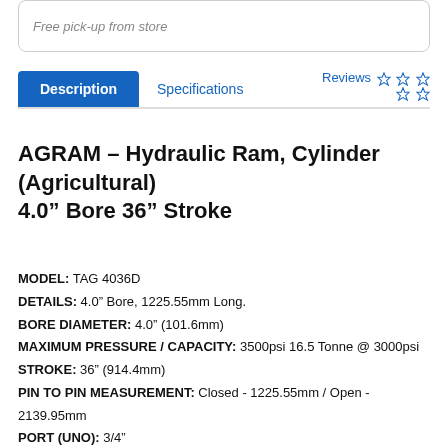Free pick-up from store
Description | Specifications | Reviews ☆☆☆☆☆
AGRAM – Hydraulic Ram, Cylinder (Agricultural) 4.0" Bore 36" Stroke
MODEL: TAG 4036D
DETAILS: 4.0" Bore, 1225.55mm Long.
BORE DIAMETER: 4.0" (101.6mm)
MAXIMUM PRESSURE / CAPACITY: 3500psi 16.5 Tonne @ 3000psi
STROKE: 36" (914.4mm)
PIN TO PIN MEASUREMENT: Closed - 1225.55mm / Open - 2139.95mm
PORT (UNO): 3/4"
CLEVIS PIN: 1"